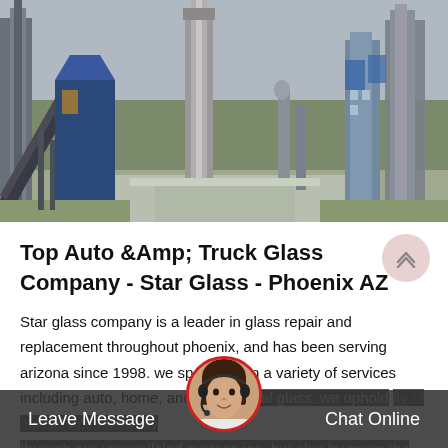[Figure (photo): Industrial facility with large silos, steel structures, conveyor belts, and buildings under an overcast sky.]
Top Auto &Amp; Truck Glass Company - Star Glass - Phoenix AZ
Star glass company is a leader in glass repair and replacement throughout phoenix, and has been serving arizona since 1998. we specialize in a variety of services including auto, home, and commercial glass. we uphold the quality of our services not only through our unparalleled customer service, but also by going the
[Figure (photo): Chat support avatar — woman wearing headset, circular portrait with red border.]
Leave Message
Chat Online